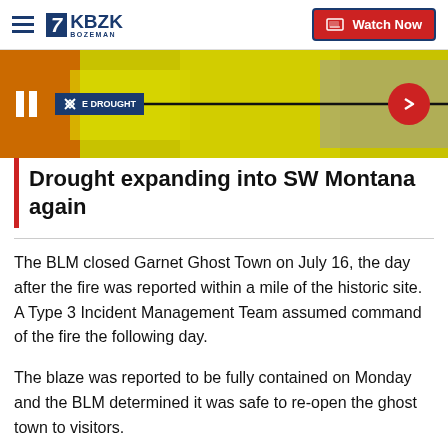KBZK BOZEMAN | Watch Now
[Figure (screenshot): News website screenshot showing KBZK Bozeman logo, Watch Now button, a drought map video thumbnail with pause and arrow controls, and a red-highlighted drought headline.]
Drought expanding into SW Montana again
The BLM closed Garnet Ghost Town on July 16, the day after the fire was reported within a mile of the historic site. A Type 3 Incident Management Team assumed command of the fire the following day.
The blaze was reported to be fully contained on Monday and the BLM determined it was safe to re-open the ghost town to visitors.